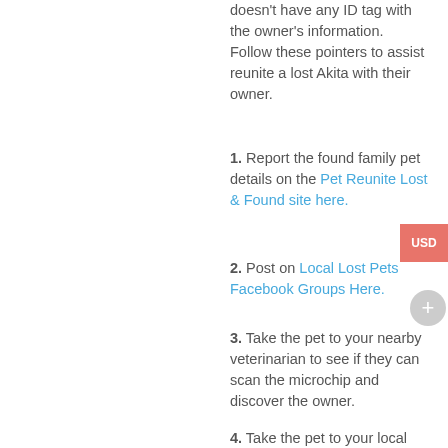doesn't have any ID tag with the owner's information. Follow these pointers to assist reunite a lost Akita with their owner.
1. Report the found family pet details on the Pet Reunite Lost & Found site here.
2. Post on Local Lost Pets Facebook Groups Here.
3. Take the pet to your nearby veterinarian to see if they can scan the microchip and discover the owner.
4. Take the pet to your local animal shelter, find yours